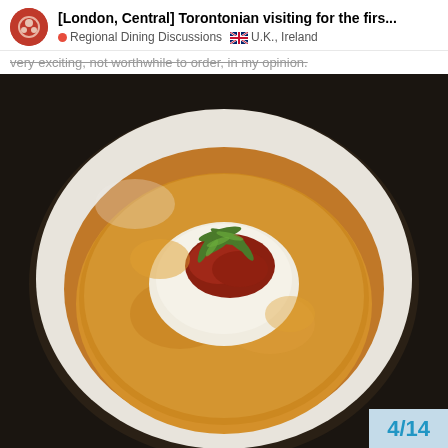[London, Central] Torontonian visiting for the firs... | Regional Dining Discussions | U.K., Ireland
very exciting, not worthwhile to order, in my opinion.
[Figure (photo): A round golden-brown cornbread or similar baked item in a shallow white bowl with sauce, topped with a white cream or puree, red meat/tomato pieces, and fresh green herbs (possibly tarragon or dill).]
4/14